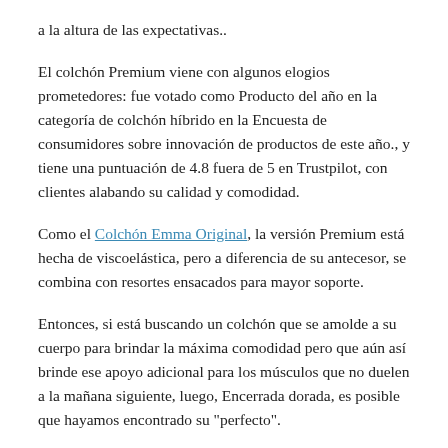a la altura de las expectativas..
El colchón Premium viene con algunos elogios prometedores: fue votado como Producto del año en la categoría de colchón híbrido en la Encuesta de consumidores sobre innovación de productos de este año., y tiene una puntuación de 4.8 fuera de 5 en Trustpilot, con clientes alabando su calidad y comodidad.
Como el Colchón Emma Original, la versión Premium está hecha de viscoelástica, pero a diferencia de su antecesor, se combina con resortes ensacados para mayor soporte.
Entonces, si está buscando un colchón que se amolde a su cuerpo para brindar la máxima comodidad pero que aún así brinde ese apoyo adicional para los músculos que no duelen a la mañana siguiente, luego, Encerrada dorada, es posible que hayamos encontrado su "perfecto".
obtener un extra 6% de descuento en el colchón Emma